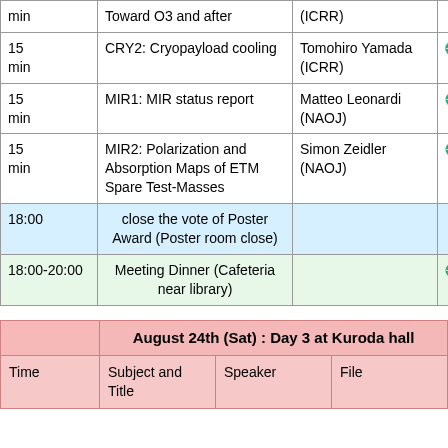| Time | Subject and Title | Speaker | File |
| --- | --- | --- | --- |
| min | Toward O3 and after | (ICRR) |  |
| 15 min | CRY2: Cryopayload cooling | Tomohiro Yamada (ICRR) | x |
| 15 min | MIR1: MIR status report | Matteo Leonardi (NAOJ) | o |
| 15 min | MIR2: Polarization and Absorption Maps of ETM Spare Test-Masses | Simon Zeidler (NAOJ) | o |
| 18:00 | close the vote of Poster Award (Poster room close) |  |  |
| 18:00-20:00 | Meeting Dinner (Cafeteria near library) |  | photo |
|  | August 24th (Sat) : Day 3 at Kuroda hall |  |  |
| --- | --- | --- | --- |
| Time | Subject and Title | Speaker | File |